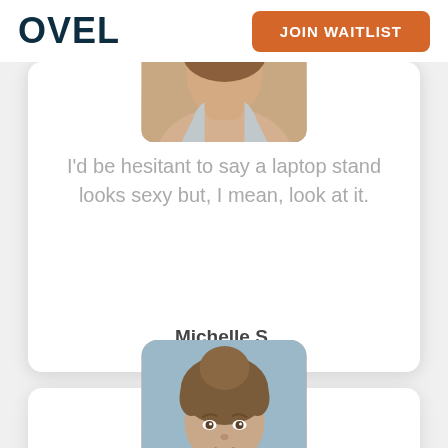OVEL  JOIN WAITLIST
[Figure (photo): Partial view of a woman's head and shoulders, cropped at top of card]
I'd be hesitant to say a laptop stand looks sexy but, I mean, look at it.
Michelle S.
[Figure (photo): Portrait photo of a woman with curly brown hair pulled up, looking directly at camera, partial view]